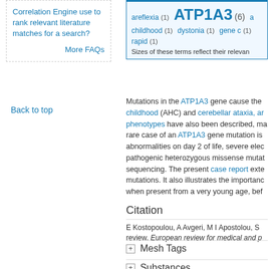Correlation Engine use to rank relevant literature matches for a search?
More FAQs
Back to top
[Figure (infographic): Tag cloud showing ATP1A3 (6) in large text, areflexia (1), childhood (1), dystonia (1), gene c (1), rapid (1). Sizes of these terms reflect their relevance.]
Mutations in the ATP1A3 gene cause the childhood (AHC) and cerebellar ataxia, ar phenotypes have also been described, ma rare case of an ATP1A3 gene mutation is abnormalities on day 2 of life, severe elec pathogenic heterozygous missense mutat sequencing. The present case report exte mutations. It also illustrates the importanc when present from a very young age, bef
Citation
E Kostopoulou, A Avgeri, M I Apostolou, S review. European review for medical and p
Mesh Tags
Substances